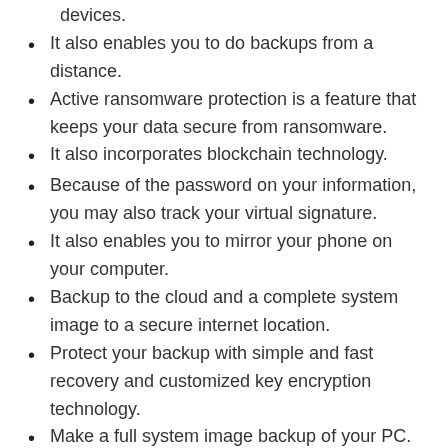devices.
It also enables you to do backups from a distance.
Active ransomware protection is a feature that keeps your data secure from ransomware.
It also incorporates blockchain technology.
Because of the password on your information, you may also track your virtual signature.
It also enables you to mirror your phone on your computer.
Backup to the cloud and a complete system image to a secure internet location.
Protect your backup with simple and fast recovery and customized key encryption technology.
Make a full system image backup of your PC.
Local and cloud protection is supported by dual